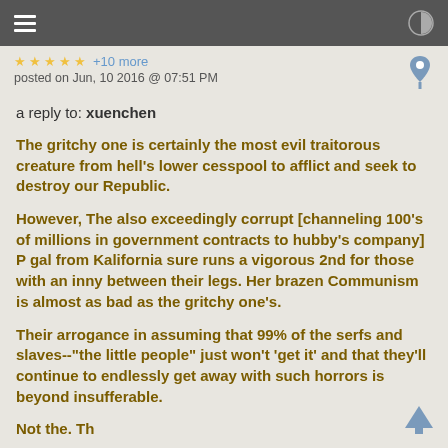☰  ◑
★ ★ ★ ★ ★ +10 more
posted on Jun, 10 2016 @ 07:51 PM
a reply to: xuenchen
The gritchy one is certainly the most evil traitorous creature from hell's lower cesspool to afflict and seek to destroy our Republic.
However, The also exceedingly corrupt [channeling 100's of millions in government contracts to hubby's company] P gal from Kalifornia sure runs a vigorous 2nd for those with an inny between their legs. Her brazen Communism is almost as bad as the gritchy one's.
Their arrogance in assuming that 99% of the serfs and slaves--"the little people" just won't 'get it' and that they'll continue to endlessly get away with such horrors is beyond insufferable.
Not the. This was a truncated continuation at the bottom.